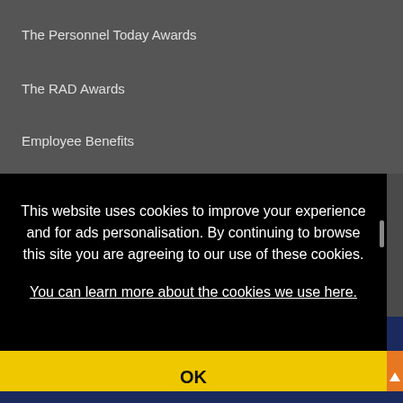The Personnel Today Awards
The RAD Awards
Employee Benefits
Forum for Expatriate Management
OHW+
Whatmedia
This website uses cookies to improve your experience and for ads personalisation. By continuing to browse this site you are agreeing to our use of these cookies.
You can learn more about the cookies we use here.
OK